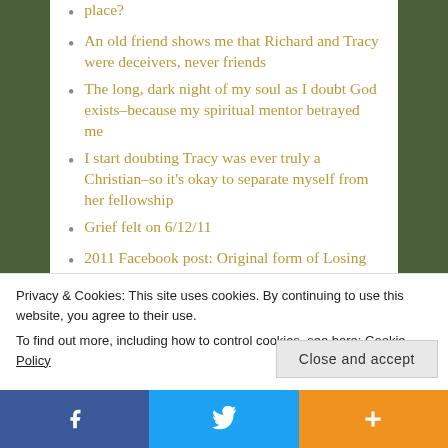place?
An old friend shows me that Richard and Tracy were deceivers, never friends
The long, dark night of my soul as I doubt God exists–because my spiritual mentor betrayed me
I start doubting Tracy was ever truly a Christian–so it's okay to separate myself from her fellowship
Grief felt on 6/12/11
2011 Facebook post: Original form of Losing Your Best Friend?–Or, Narcissistic Webs
Privacy & Cookies: This site uses cookies. By continuing to use this website, you agree to their use. To find out more, including how to control cookies, see here: Cookie Policy
Close and accept